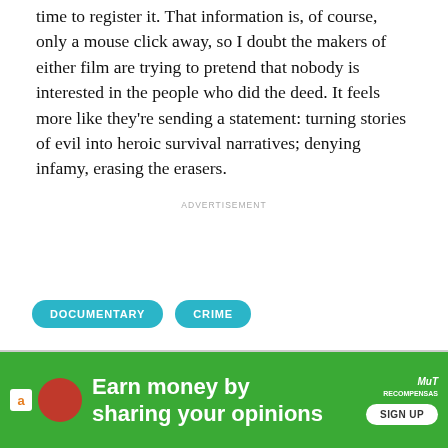time to register it. That information is, of course, only a mouse click away, so I doubt the makers of either film are trying to pretend that nobody is interested in the people who did the deed. It feels more like they're sending a statement: turning stories of evil into heroic survival narratives; denying infamy, erasing the erasers.
ADVERTISEMENT
DOCUMENTARY
CRIME
[Figure (screenshot): Advertisement banner: green background with Amazon icon, text 'Earn money by sharing your opinions', MuT Recompensas logo, and SIGN UP button. Close buttons visible.]